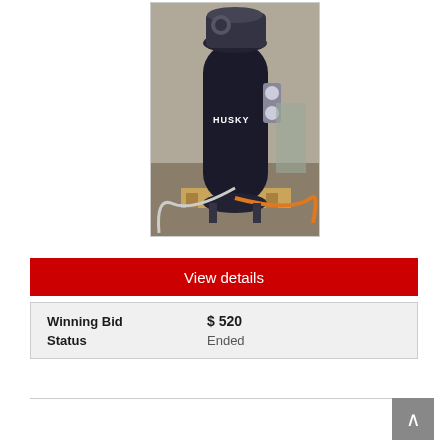[Figure (photo): A Husky brand vertical air compressor, black tank, sitting on a wooden pallet in a garage/workshop setting with orange air hose attached.]
View details
| Winning Bid | $ 520 |
| Status | Ended |